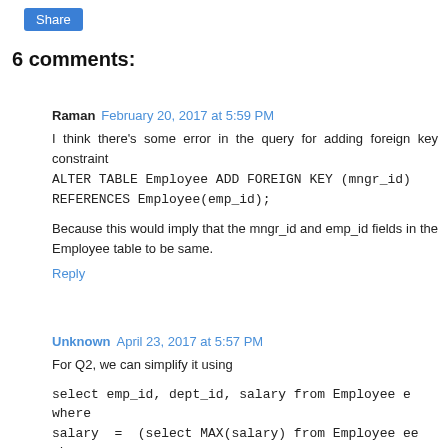Share
6 comments:
Raman  February 20, 2017 at 5:59 PM
I think there's some error in the query for adding foreign key constraint
ALTER TABLE Employee ADD FOREIGN KEY (mngr_id) REFERENCES Employee(emp_id);
Because this would imply that the mngr_id and emp_id fields in the Employee table to be same.
Reply
Unknown  April 23, 2017 at 5:57 PM
For Q2, we can simplify it using
select emp_id, dept_id, salary from Employee e where salary = (select MAX(salary) from Employee ee where